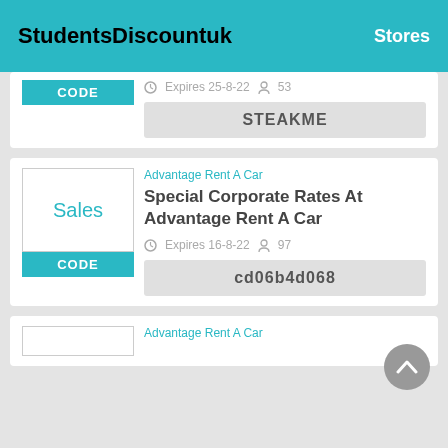StudentsDiscountuk   Stores
CODE   Expires 25-8-22   53
STEAKME
Advantage Rent A Car
Special Corporate Rates At Advantage Rent A Car
Sales
CODE   Expires 16-8-22   97
cd06b4d068
Advantage Rent A Car